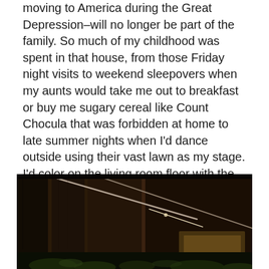moving to America during the Great Depression–will no longer be part of the family. So much of my childhood was spent in that house, from those Friday night visits to weekend sleepovers when my aunts would take me out to breakfast or buy me sugary cereal like Count Chocula that was forbidden at home to late summer nights when I'd dance outside using their vast lawn as my stage. I'd color on the living room floor with the new coloring books Adzia bought for me every week, help my aunts pick out the ripe tomatoes and peppers from their garden, and eat Old London pizza at the kitchen table.
[Figure (photo): Dark interior photograph showing wooden door frames or panels with diagonal metal bars/supports visible against a warm amber-lit background. The image is dimly lit with dark wood tones and some foliage visible at the bottom.]